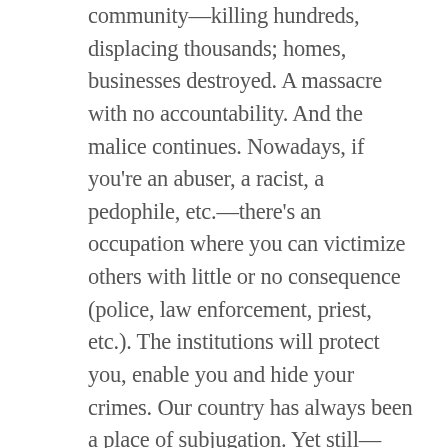community—killing hundreds, displacing thousands; homes, businesses destroyed. A massacre with no accountability. And the malice continues. Nowadays, if you're an abuser, a racist, a pedophile, etc.—there's an occupation where you can victimize others with little or no consequence (police, law enforcement, priest, etc.). The institutions will protect you, enable you and hide your crimes. Our country has always been a place of subjugation. Yet still—black people, in many ways, have overcome. They aren't waging war, burning down cities and committing mass murders. My great grandmothers survived the brutalities of slavery without becoming bitter and vengeful. They passed on strength and love to their descendants. Rising above. But still, we are witnessing the reluctance of the dissenters to overcome: overcome the hate and